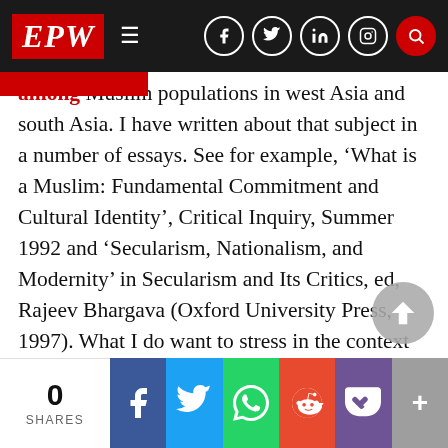EPW
among Muslim populations in west Asia and south Asia. I have written about that subject in a number of essays. See for example, ‘What is a Muslim: Fundamental Commitment and Cultural Identity’, Critical Inquiry, Summer 1992 and ‘Secularism, Nationalism, and Modernity’ in Secularism and Its Critics, ed, Rajeev Bhargava (Oxford University Press, 1997). What I do want to stress in the context of a cold war climate today is that writers and intellectuals are prone to think that all the rest that is on their lips somehow discounts the importance of what I am calling attention to being on their lips in this essay (see the next
0 SHARES | Facebook | Twitter | WhatsApp | Reddit | Pocket | +